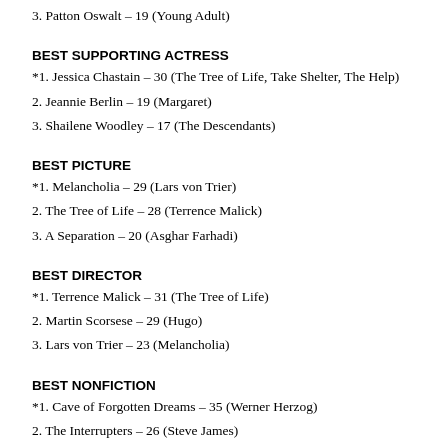3. Patton Oswalt – 19 (Young Adult)
BEST SUPPORTING ACTRESS
*1. Jessica Chastain – 30 (The Tree of Life, Take Shelter, The Help)
2. Jeannie Berlin – 19 (Margaret)
3. Shailene Woodley – 17 (The Descendants)
BEST PICTURE
*1. Melancholia – 29 (Lars von Trier)
2. The Tree of Life – 28 (Terrence Malick)
3. A Separation – 20 (Asghar Farhadi)
BEST DIRECTOR
*1. Terrence Malick – 31 (The Tree of Life)
2. Martin Scorsese – 29 (Hugo)
3. Lars von Trier – 23 (Melancholia)
BEST NONFICTION
*1. Cave of Forgotten Dreams – 35 (Werner Herzog)
2. The Interrupters – 26 (Steve James)
3. Into the Abyss – 18 (Werner Herzog)